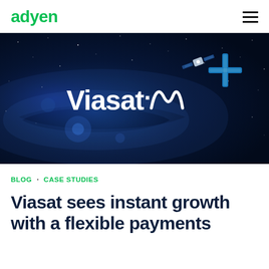adyen
[Figure (photo): Dark space background with Viasat logo (white text 'Viasat' with stylized M symbol) and a satellite with blue cross design in the upper right]
BLOG · CASE STUDIES
Viasat sees instant growth with a flexible payments